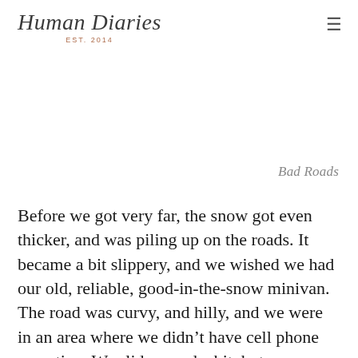Human Diaries EST. 2014
Bad Roads
Before we got very far, the snow got even thicker, and was piling up on the roads. It became a bit slippery, and we wished we had our old, reliable, good-in-the-snow minivan. The road was curvy, and hilly, and we were in an area where we didn't have cell phone reception. We slid around a bit, but were going slowly enough that we didn't panic. We